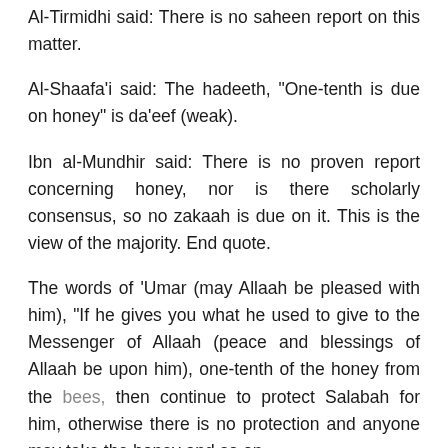Al-Tirmidhi said: There is no saheen report on this matter.
Al-Shaafa'i said: The hadeeth, “One-tenth is due on honey” is da’eef (weak).
Ibn al-Mundhir said: There is no proven report concerning honey, nor is there scholarly consensus, so no zakaah is due on it. This is the view of the majority. End quote.
The words of ‘Umar (may Allaah be pleased with him), “If he gives you what he used to give to the Messenger of Allaah (peace and blessings of Allaah be upon him), one-tenth of the honey from the bees, then continue to protect Salabah for him, otherwise there is no protection and anyone may take the honey and so on.” indicates that honey...